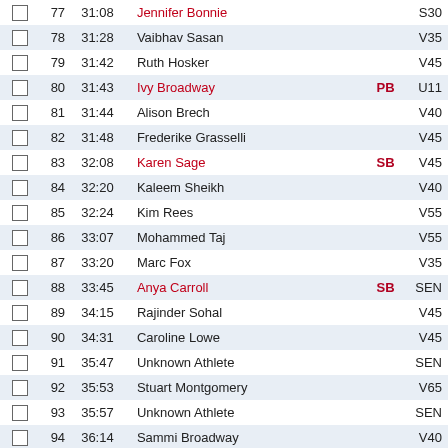|  | # | Time | Name | Badge | Cat |
| --- | --- | --- | --- | --- | --- |
|  | 77 | 31:08 | Jennifer Bonnie |  | S30 |
|  | 78 | 31:28 | Vaibhav Sasan |  | V35 |
|  | 79 | 31:42 | Ruth Hosker |  | V45 |
|  | 80 | 31:43 | Ivy Broadway | PB | U11 |
|  | 81 | 31:44 | Alison Brech |  | V40 |
|  | 82 | 31:48 | Frederike Grasselli |  | V45 |
|  | 83 | 32:08 | Karen Sage | SB | V45 |
|  | 84 | 32:20 | Kaleem Sheikh |  | V40 |
|  | 85 | 32:24 | Kim Rees |  | V55 |
|  | 86 | 33:07 | Mohammed Taj |  | V55 |
|  | 87 | 33:20 | Marc Fox |  | V35 |
|  | 88 | 33:45 | Anya Carroll | SB | SEN |
|  | 89 | 34:15 | Rajinder Sohal |  | V45 |
|  | 90 | 34:31 | Caroline Lowe |  | V45 |
|  | 91 | 35:47 | Unknown Athlete |  | SEN |
|  | 92 | 35:53 | Stuart Montgomery |  | V65 |
|  | 93 | 35:57 | Unknown Athlete |  | SEN |
|  | 94 | 36:14 | Sammi Broadway |  | V40 |
|  | 95 | 36:52 | Sandeep Kumar |  | V35 |
|  | 96 | 37:33 | Angela Ainsworth |  | V50 |